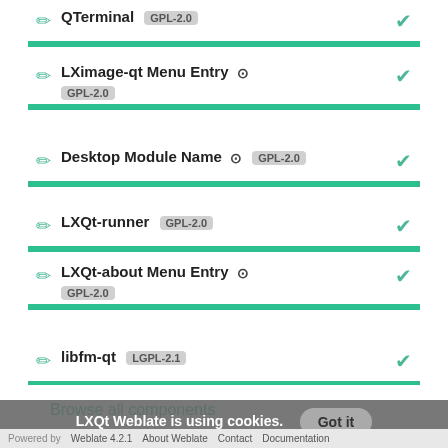QTerminal GPL-2.0
LXimage-qt Menu Entry GPL-2.0
Desktop Module Name GPL-2.0
LXQt-runner GPL-2.0
LXQt-about Menu Entry GPL-2.0
libfm-qt LGPL-2.1
Browse all components
LXQt Weblate is using cookies.
More information
Got it
Powered by Weblate 4.2.1  About Weblate  Contact  Documentation